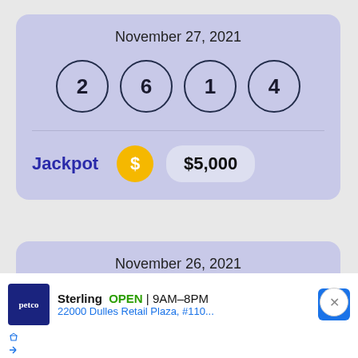[Figure (infographic): Lottery card for November 27, 2021 showing balls numbered 2, 6, 1, 4 and Jackpot of $5,000]
[Figure (infographic): Lottery card for November 26, 2021 showing partially visible lottery balls, with a close button]
[Figure (infographic): Petco advertisement: Sterling OPEN 9AM-8PM, 22000 Dulles Retail Plaza, #110...]